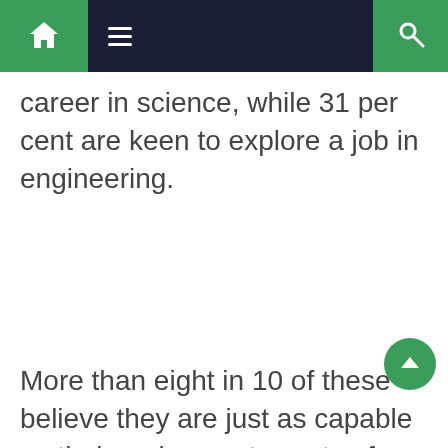Navigation bar with home, menu, and search icons
career in science, while 31 per cent are keen to explore a job in engineering.
More than eight in 10 of these believe they are just as capable as their male counterparts of performing certain roles.
And 28 per cent of those who feel this way